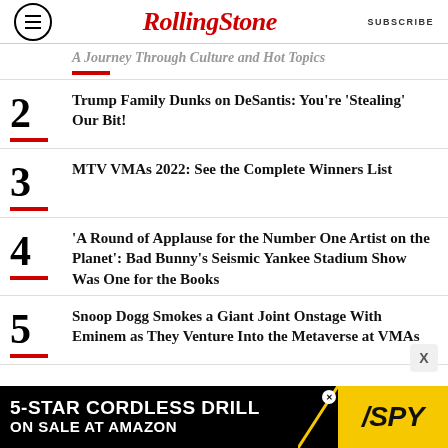RollingStone | SUBSCRIBE
A Journey Through Culture and Hot Topics (partial, item 1)
2 Trump Family Dunks on DeSantis: You're 'Stealing' Our Bit!
3 MTV VMAs 2022: See the Complete Winners List
4 'A Round of Applause for the Number One Artist on the Planet': Bad Bunny's Seismic Yankee Stadium Show Was One for the Books
5 Snoop Dogg Smokes a Giant Joint Onstage With Eminem as They Venture Into the Metaverse at VMAs
[Figure (infographic): Advertisement banner: 5-STAR CORDLESS DRILL ON SALE AT AMAZON / SPY logo on yellow background]